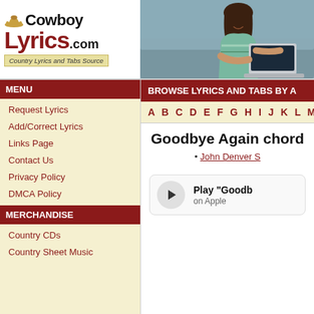[Figure (logo): CowboyLyrics.com logo with cowboy hat icon, bold text 'Cowboy Lyrics.com' and tagline 'Country Lyrics and Tabs Source']
[Figure (photo): Woman sitting on couch using laptop computer]
MENU
Request Lyrics
Add/Correct Lyrics
Links Page
Contact Us
Privacy Policy
DMCA Policy
MERCHANDISE
Country CDs
Country Sheet Music
BROWSE LYRICS AND TABS BY A
A B C D E F G H I J K L M N O
Goodbye Again chords
• John Denver S
Play "Goodb... on Apple